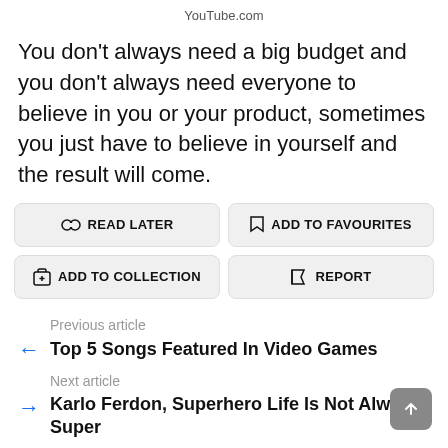YouTube.com
You don't always need a big budget and you don't always need everyone to believe in you or your product, sometimes you just have to believe in yourself and the result will come.
[Figure (screenshot): Four action buttons: READ LATER, ADD TO FAVOURITES, ADD TO COLLECTION, REPORT]
Previous article
← Top 5 Songs Featured In Video Games
Next article
→ Karlo Ferdon, Superhero Life Is Not Always Super